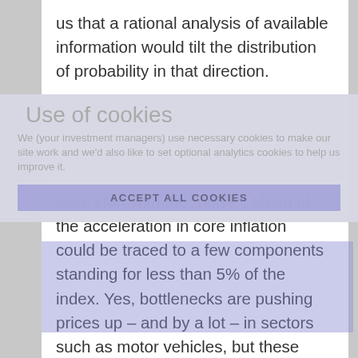us that a rational analysis of available information would tilt the distribution of probability in that direction.
Use of cookies
We (your investment managers) use necessary cookies to make our site work and we’d also like to set optional analytics cookies to help us improve it.
ACCEPT ALL COOKIES
Let’s start with the “noise”. Much of the acceleration in core inflation could be traced to a few components standing for less than 5% of the index. Yes, bottlenecks are pushing prices up – and by a lot – in sectors such as motor vehicles, but these supply issues (e.g., the global shortage in microchips) do not reflect endogenous overheating (at least not yet). Inflation hawks are drawing attention to wage developments, possibly spurred by labour shortage. However, statistical noise there